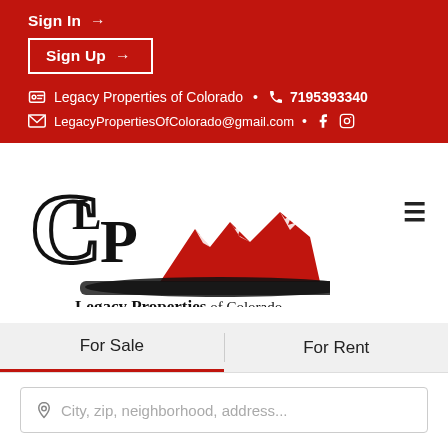Sign In →
Sign Up →
Legacy Properties of Colorado  •  7195393340
LegacyPropertiesOfColorado@gmail.com  •  (Facebook)  (Instagram)
[Figure (logo): Legacy Properties of Colorado logo with CLP monogram and red mountain peaks illustration above the company name in serif font]
For Sale
For Rent
City, zip, neighborhood, address...